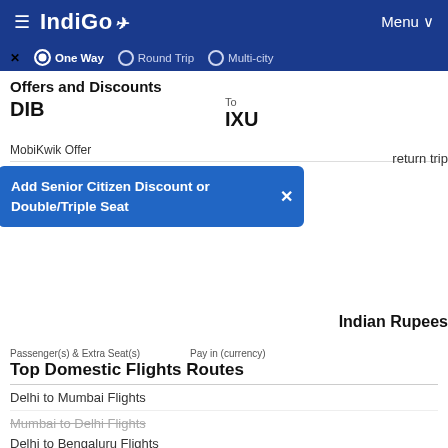IndiGo — Menu
One Way   Round Trip   Multi-city
Offers and Discounts
DIB
To
IXU
MobiKwik Offer
Airtel Payments Bank Offer
return trip
View all offers
[Figure (screenshot): Blue popup tooltip: 'Add Senior Citizen Discount or Double/Triple Seat' with an X close button]
Passenger(s) & Extra Seat(s)    Pay in (currency)
Top Domestic Flights Routes
Indian Rupees
Delhi to Mumbai Flights
Mumbai to Delhi Flights
Delhi to Bengaluru Flights
Bengaluru to Mumbai Flights
Delhi to Goa Flights
Search Flight
? Help?